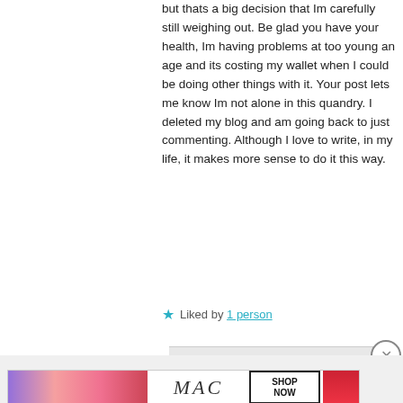but thats a big decision that Im carefully still weighing out. Be glad you have your health, Im having problems at too young an age and its costing my wallet when I could be doing other things with it. Your post lets me know Im not alone in this quandry. I deleted my blog and am going back to just commenting. Although I love to write, in my life, it makes more sense to do it this way.
★ Liked by 1 person
luckyotter
Advertisements
[Figure (photo): MAC cosmetics advertisement banner showing colorful lipsticks on the left, MAC logo in the center, SHOP NOW box, and a red lipstick on the right]